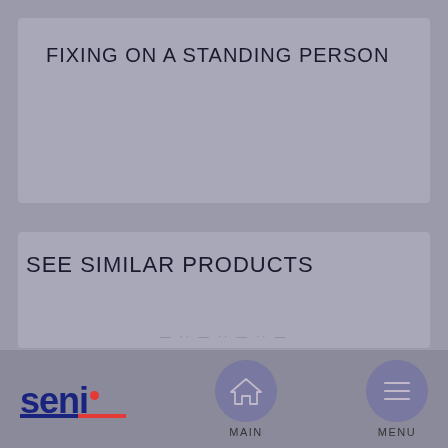FIXING ON A STANDING PERSON
SEE SIMILAR PRODUCTS
[Figure (logo): Seni brand logo with dark blue text and red dot above 'i' with red and blue underline]
[Figure (other): Navigation button with house/home icon, labeled MAIN]
[Figure (other): Navigation button with menu/hamburger icon, labeled MENU]